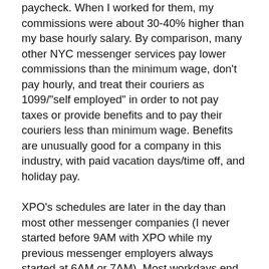paycheck. When I worked for them, my commissions were about 30-40% higher than my base hourly salary. By comparison, many other NYC messenger services pay lower commissions than the minimum wage, don't pay hourly, and treat their couriers as 1099/"self employed" in order to not pay taxes or provide benefits and to pay their couriers less than minimum wage. Benefits are unusually good for a company in this industry, with paid vacation days/time off, and holiday pay.
XPO's schedules are later in the day than most other messenger companies (I never started before 9AM with XPO while my previous messenger employers always started at 6AM or 7AM). Most workdays end after 8-9 hours. Some dispatchers are willing to assign the last delivery to an area of Manhattan along the courier's route home. During the holiday season, schedules of over 12 hours are not uncommon due to the increased volume.